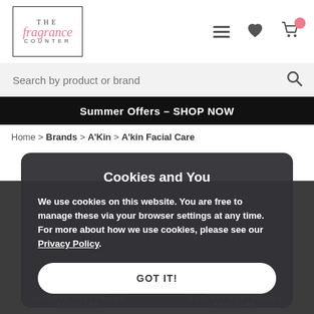[Figure (logo): The Fragrance Counter logo in a bordered box]
Search by product or brand
Summer Offers – SHOP NOW
Home > Brands > A'Kin > A'kin Facial Care
Cookies and You
We use cookies on this website. You are free to manage these via your browser settings at any time. For more about how we use cookies, please see our Privacy Policy.
GOT IT!